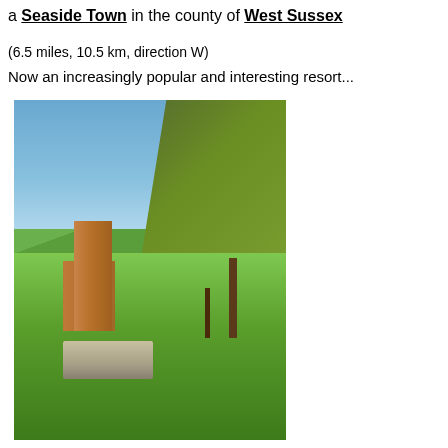a Seaside Town in the county of West Sussex
(6.5 miles, 10.5 km, direction W)
Now an increasingly popular and interesting resort...
[Figure (photo): A photograph of a historic brick church tower with a clock face, surrounded by green grass and trees under a blue sky, with a stone tomb or chest in the foreground.]